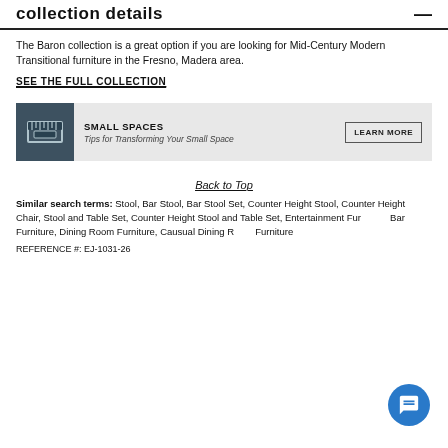collection details
The Baron collection is a great option if you are looking for Mid-Century Modern Transitional furniture in the Fresno, Madera area.
SEE THE FULL COLLECTION
[Figure (infographic): Banner with ruler/tape measure icon, bold text 'SMALL SPACES', subtitle 'Tips for Transforming Your Small Space', and a 'LEARN MORE' button on the right.]
Back to Top
Similar search terms: Stool, Bar Stool, Bar Stool Set, Counter Height Stool, Counter Height Chair, Stool and Table Set, Counter Height Stool and Table Set, Entertainment Furniture, Bar Furniture, Dining Room Furniture, Causual Dining Room Furniture
REFERENCE #: EJ-1031-26